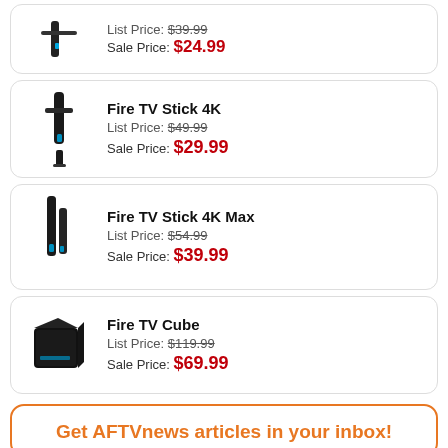[Figure (illustration): Fire TV Stick device image (partial, top of page)]
List Price: $39.99
Sale Price: $24.99
[Figure (illustration): Fire TV Stick 4K device image]
Fire TV Stick 4K
List Price: $49.99
Sale Price: $29.99
[Figure (illustration): Fire TV Stick 4K Max device image]
Fire TV Stick 4K Max
List Price: $54.99
Sale Price: $39.99
[Figure (illustration): Fire TV Cube device image]
Fire TV Cube
List Price: $119.99
Sale Price: $69.99
Get AFTVnews articles in your inbox!